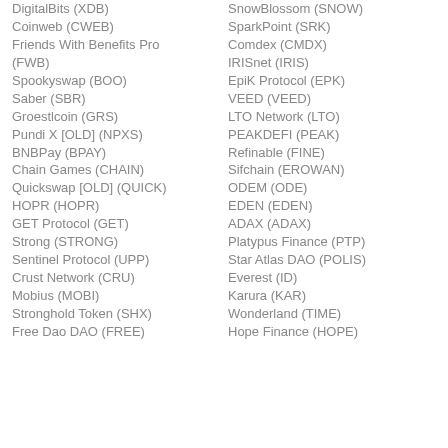DigitalBits (XDB)
SnowBlossom (SNOW)
Coinweb (CWEB)
SparkPoint (SRK)
Friends With Benefits Pro (FWB)
Comdex (CMDX)
IRISnet (IRIS)
Spookyswap (BOO)
EpiK Protocol (EPK)
Saber (SBR)
VEED (VEED)
Groestlcoin (GRS)
LTO Network (LTO)
Pundi X [OLD] (NPXS)
PEAKDEFI (PEAK)
BNBPay (BPAY)
Refinable (FINE)
Chain Games (CHAIN)
Sifchain (EROWAN)
Quickswap [OLD] (QUICK)
ODEM (ODE)
HOPR (HOPR)
EDEN (EDEN)
GET Protocol (GET)
ADAX (ADAX)
Strong (STRONG)
Platypus Finance (PTP)
Sentinel Protocol (UPP)
Star Atlas DAO (POLIS)
Crust Network (CRU)
Everest (ID)
Mobius (MOBI)
Karura (KAR)
Stronghold Token (SHX)
Wonderland (TIME)
Free Dao DAO (FREE)
Hope Finance (HOPE)